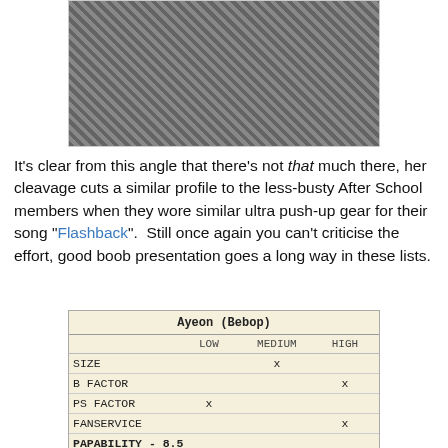[Figure (photo): Partial photo of a person in fishnets and black lace clothing]
It's clear from this angle that there's not that much there, her cleavage cuts a similar profile to the less-busty After School members when they wore similar ultra push-up gear for their song "Flashback".  Still once again you can't criticise the effort, good boob presentation goes a long way in these lists.
|  | LOW | MEDIUM | HIGH |
| --- | --- | --- | --- |
| SIZE |  | x |  |
| B FACTOR |  |  | x |
| PS FACTOR | x |  |  |
| FANSERVICE |  |  | x |
| PAPABILITY - 8.5
She can hit my skins. |  |  |  |